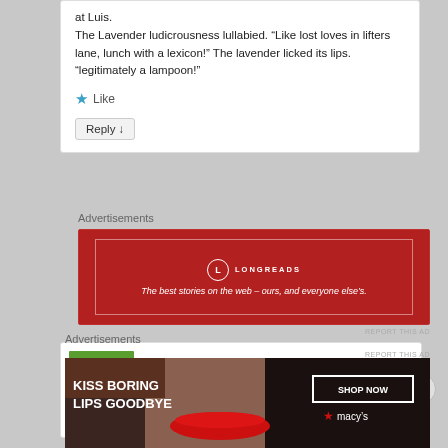at Luis.
The Lavender ludicrousness lullabied. “Like lost loves in lifters lane, lunch with a lexicon!” The lavender licked its lips. “legitimately a lampoon!”
★ Like
Reply ↓
Advertisements
[Figure (logo): Longreads advertisement banner: dark red background with Longreads logo and tagline 'The best stories on the web – ours, and everyone else’s.']
REPORT THIS AD
[Figure (photo): Photo of a small orange and yellow bird perched, with green background.]
Advertisements
[Figure (photo): Macy's advertisement: 'KISS BORING LIPS GOODBYE' with a close-up of a woman's face and red lips, with 'SHOP NOW' button and Macy's star logo.]
REPORT THIS AD